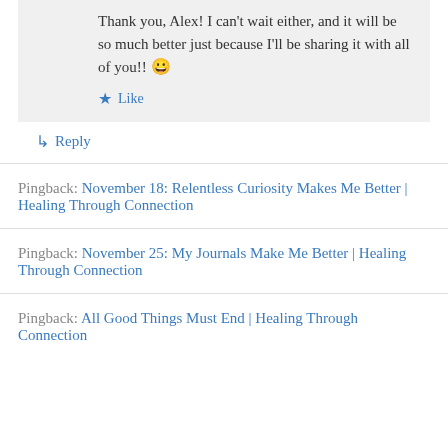Thank you, Alex! I can't wait either, and it will be so much better just because I'll be sharing it with all of you!! 😀
★ Like
↳ Reply
Pingback: November 18:  Relentless Curiosity Makes Me Better | Healing Through Connection
Pingback: November 25:  My Journals Make Me Better | Healing Through Connection
Pingback: All Good Things Must End | Healing Through Connection